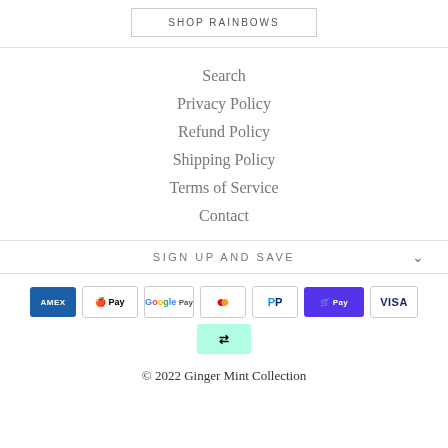SHOP RAINBOWS
Search
Privacy Policy
Refund Policy
Shipping Policy
Terms of Service
Contact
SIGN UP AND SAVE
[Figure (other): Payment method icons: American Express, Apple Pay, Google Pay, Mastercard, PayPal, Shop Pay, Visa, Afterpay]
© 2022 Ginger Mint Collection